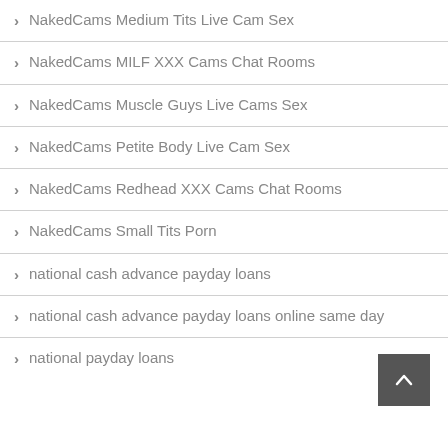NakedCams Medium Tits Live Cam Sex
NakedCams MILF XXX Cams Chat Rooms
NakedCams Muscle Guys Live Cams Sex
NakedCams Petite Body Live Cam Sex
NakedCams Redhead XXX Cams Chat Rooms
NakedCams Small Tits Porn
national cash advance payday loans
national cash advance payday loans online same day
national payday loans